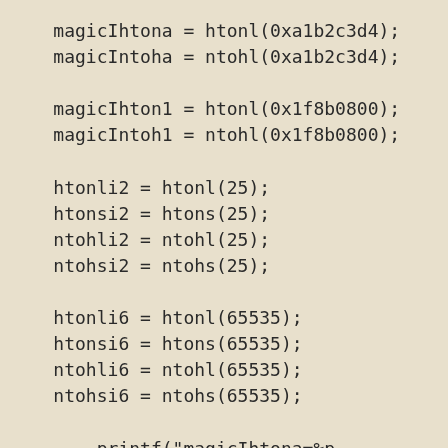magicIhtona = htonl(0xa1b2c3d4);
magicIntoha = ntohl(0xa1b2c3d4);

magicIhton1 = htonl(0x1f8b0800);
magicIntoh1 = ntohl(0x1f8b0800);

htonli2 = htonl(25);
htonsi2 = htons(25);
ntohli2 = ntohl(25);
ntohsi2 = ntohs(25);

htonli6 = htonl(65535);
htonsi6 = htons(65535);
ntohli6 = ntohl(65535);
ntohsi6 = ntohs(65535);

        printf("magicIhtona=%p magicIntoha=%p,magicIhton1=%p, magicIntoh1=%p, htonli2=%d htonsi2=%d ntohli2=%d ntohsi2=%d, htonli6=%d, htonsi6=%d, ntohli6=%d, ntohsi6=%d\n", magicIhtona, magicIntoha, magicIhton1, magicIntoh1,htonli2, htonsi2, ntohli2, ntohsi2, htonli6, htonsi6, ntohli6, ntohsi6);